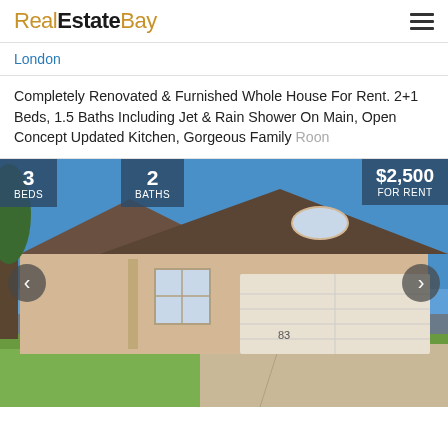RealEstateBay
London
Completely Renovated & Furnished Whole House For Rent. 2+1 Beds, 1.5 Baths Including Jet & Rain Shower On Main, Open Concept Updated Kitchen, Gorgeous Family Room
[Figure (photo): Exterior photo of a single-storey brick house with large garage door, arched window above garage, green lawn and driveway in front, blue sky. Overlaid badges show 3 BEDS, 2 BATHS, and $2,500 FOR RENT. Left and right navigation arrows visible.]